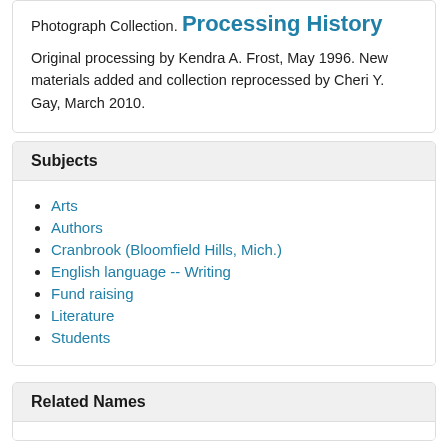Photograph Collection.
Processing History
Original processing by Kendra A. Frost, May 1996. New materials added and collection reprocessed by Cheri Y. Gay, March 2010.
Subjects
Arts
Authors
Cranbrook (Bloomfield Hills, Mich.)
English language -- Writing
Fund raising
Literature
Students
Related Names